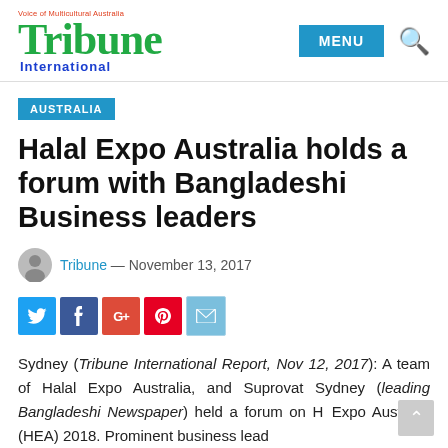Tribune International — Voice of Multicultural Australia
AUSTRALIA
Halal Expo Australia holds a forum with Bangladeshi Business leaders
Tribune — November 13, 2017
[Figure (other): Social media share buttons: Twitter, Facebook, Google+, Pinterest, Email]
Sydney (Tribune International Report, Nov 12, 2017): A team of Halal Expo Australia, and Suprovat Sydney (leading Bangladeshi Newspaper) held a forum on Halal Expo Australia (HEA) 2018. Prominent business leaders